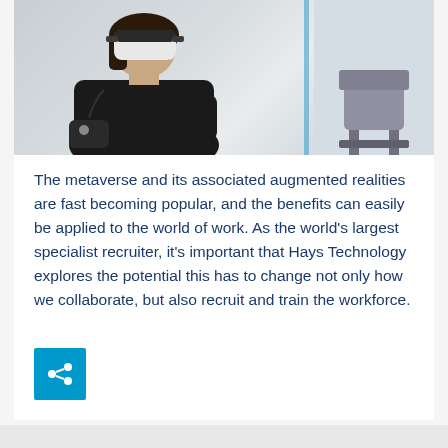[Figure (photo): A person wearing a VR headset and glove controllers, sitting in what appears to be an office or studio environment. The image shows augmented/virtual reality technology being used in a work context.]
The metaverse and its associated augmented realities are fast becoming popular, and the benefits can easily be applied to the world of work. As the world's largest specialist recruiter, it's important that Hays Technology explores the potential this has to change not only how we collaborate, but also recruit and train the workforce.
[Figure (infographic): A blue square share/social button with a share icon (three connected dots).]